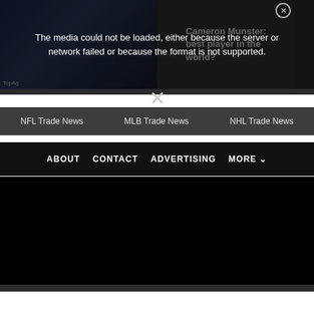[Figure (screenshot): Video player thumbnail showing people sitting on a couch in a dark room]
Cameron Munster: best player in the world?
The media could not be loaded, either because the server or network failed or because the format is not supported.
NFL Trade News
MLB Trade News
NHL Trade News
ABOUT
CONTACT
ADVERTISING
MORE